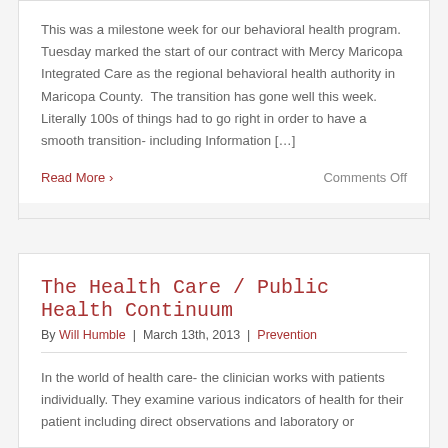This was a milestone week for our behavioral health program.  Tuesday marked the start of our contract with Mercy Maricopa Integrated Care as the regional behavioral health authority in Maricopa County.  The transition has gone well this week.  Literally 100s of things had to go right in order to have a smooth transition- including Information […]
Read More ›
Comments Off
The Health Care / Public Health Continuum
By Will Humble | March 13th, 2013 | Prevention
In the world of health care- the clinician works with patients individually. They examine various indicators of health for their patient including direct observations and laboratory or